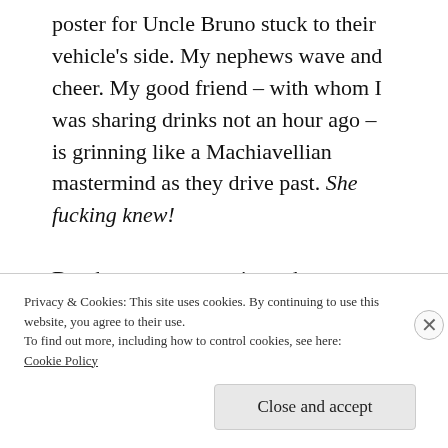poster for Uncle Bruno stuck to their vehicle's side. My nephews wave and cheer. My good friend – with whom I was sharing drinks not an hour ago – is grinning like a Machiavellian mastermind as they drive past. She fucking knew!
But the greatest surprise – the greatest gift – follows behind the family cars leading this Seussian romp: my students – past and
Privacy & Cookies: This site uses cookies. By continuing to use this website, you agree to their use.
To find out more, including how to control cookies, see here:
Cookie Policy
Close and accept